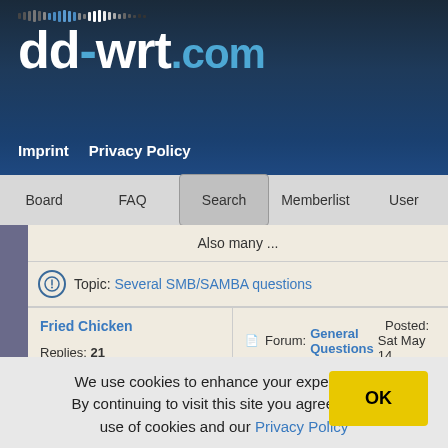[Figure (screenshot): dd-wrt.com logo on dark blue gradient background with dotted pattern]
Imprint   Privacy Policy
Board   FAQ   Search   Memberlist   User
Also many ...
Topic: Several SMB/SAMBA questions
Fried Chicken
Replies: 21
Views: 2239
Forum: General Questions   Posted: Sat May 14,
But if you like it and think it is a useful addition then pe
EGC YOU ARE THE MAN!
I just got around to updating my router, always a fun p
We use cookies to enhance your experience. By continuing to visit this site you agree to our use of cookies and our Privacy Policy